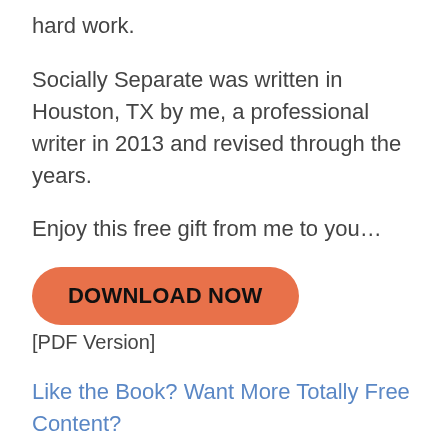hard work.
Socially Separate was written in Houston, TX by me, a professional writer in 2013 and revised through the years.
Enjoy this free gift from me to you…
[Figure (other): Orange rounded rectangle button with bold black text reading DOWNLOAD NOW]
[PDF Version]
Like the Book? Want More Totally Free Content?